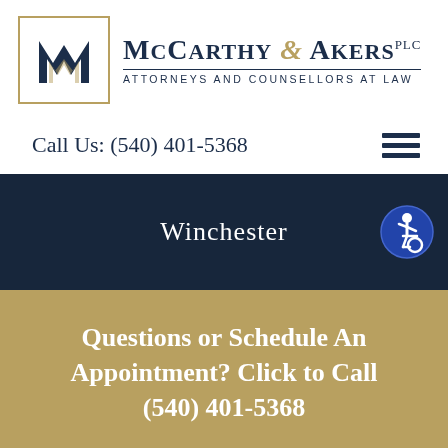[Figure (logo): McCarthy & Akers PLC law firm logo with stylized M letterform in dark navy and gold, inside a gold-bordered box. Firm name reads McCarthy & Akers PLC, Attorneys and Counsellors at Law]
Call Us: (540) 401-5368
[Figure (other): Hamburger menu icon - three horizontal dark navy lines]
Winchester
[Figure (infographic): Accessibility icon - blue circle with white wheelchair user symbol]
Questions or Schedule An Appointment? Click to Call (540) 401-5368